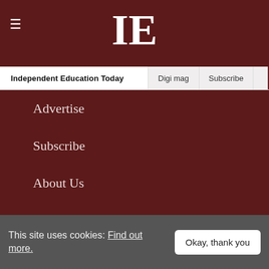IE — Independent Education Today | Digi mag | Subscribe
Advertise
Subscribe
About Us
Contact
Privacy Policy
Terms and conditions
This site uses cookies: Find out more.
Okay, thank you